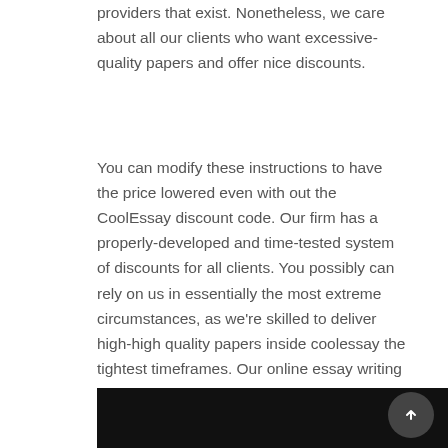providers that exist. Nonetheless, we care about all our clients who want excessive-quality papers and offer nice discounts.
You can modify these instructions to have the price lowered even with out the CoolEssay discount code. Our firm has a properly-developed and time-tested system of discounts for all clients. You possibly can rely on us in essentially the most extreme circumstances, as we’re skilled to deliver high-high quality papers inside coolessay the tightest timeframes. Our online essay writing service is very finances-friendly. Our writers know easy methods to structure your essay in probably the most logical manner. They will always get a great CoolEssay low cost from our company.
[Figure (photo): Partial image visible at the bottom of the page, appears dark/black]